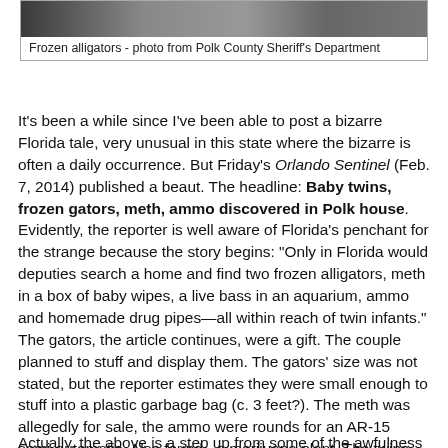[Figure (photo): Black and white photo of frozen alligators]
Frozen alligators - photo from Polk County Sheriff's Department
It's been a while since I've been able to post a bizarre Florida tale, very unusual in this state where the bizarre is often a daily occurrence. But Friday's Orlando Sentinel (Feb. 7, 2014) published a beaut. The headline: Baby twins, frozen gators, meth, ammo discovered in Polk house. Evidently, the reporter is well aware of Florida's penchant for the strange because the story begins: "Only in Florida would deputies search a home and find two frozen alligators, meth in a box of baby wipes, a live bass in an aquarium, ammo and homemade drug pipes—all within reach of twin infants." The gators, the article continues, were a gift. The couple planned to stuff and display them. The gators' size was not stated, but the reporter estimates they were small enough to stuff into a plastic garbage bag (c. 3 feet?). The meth was allegedly for sale, the ammo were rounds for an AR-15 semi-automatic. Also found - a marijuana plant. The twins are now in state custody.
Actually, the above is a step up from some of the awfulness